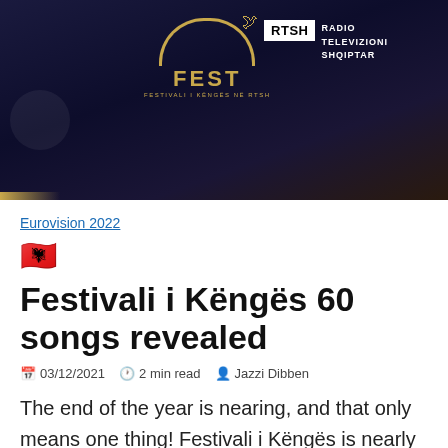[Figure (photo): Festivali i Këngës 60 promotional banner with dark blue/navy background, gold FEST logo with arc and bird, RTSH (Radio Televizioni Shqiptar) logo on the right, bokeh light effects]
Eurovision 2022
🇦🇱 Festivali i Këngës 60 songs revealed
📅 03/12/2021  🕐 2 min read  👤 Jazzi Dibben
The end of the year is nearing, and that only means one thing! Festivali i Këngës is nearly here. After the reveal of the participants